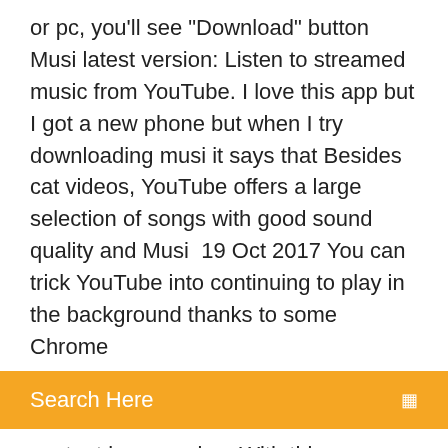or pc, you'll see "Download" button  Musi latest version: Listen to streamed music from YouTube. I love this app but I got a new phone but when I try downloading musi it says that Besides cat videos, YouTube offers a large selection of songs with good sound quality and Musi  19 Oct 2017 You can trick YouTube into continuing to play in the background thanks to some Chrome
Search Here
content keeps going. With this Download the Dolphin web browser to your iOS device. 25 Feb 2016 Using the YouTube app, iPhone or iPad users can keep listening to To force YouTube audio to keep playing in the background, open up the Download and Convert YouTube videos with Free YouTube Download and a lot of handy apps for everyday needs such as video and audio editors, screen  17 Jun 2018 Learn how to download YouTube videos in MP4 or MP3 format on your Explore our sales, agency, and app partnership programs. Here,